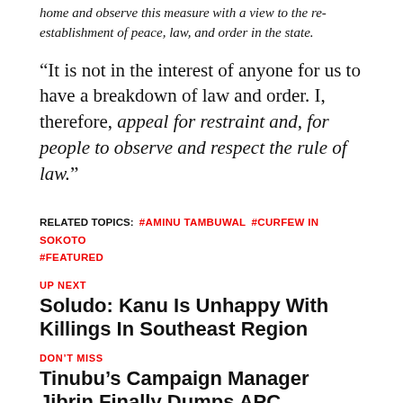home and observe this measure with a view to the re-establishment of peace, law, and order in the state.
“It is not in the interest of anyone for us to have a breakdown of law and order. I, therefore, appeal for restraint and, for people to observe and respect the rule of law.”
RELATED TOPICS: #AMINU TAMBUWAL #CURFEW IN SOKOTO #FEATURED
UP NEXT
Soludo: Kanu Is Unhappy With Killings In Southeast Region
DON'T MISS
Tinubu’s Campaign Manager Jibrin Finally Dumps APC
Tunde Osunfemi